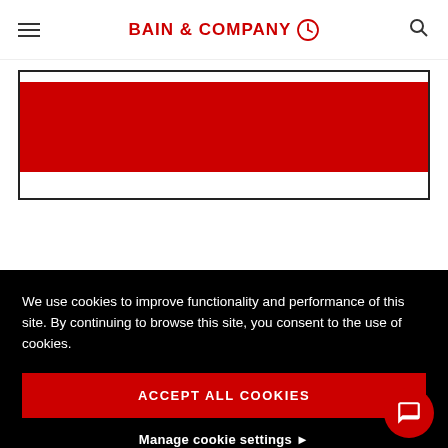BAIN & COMPANY
[Figure (screenshot): White content area with a bordered box containing a red rectangle, partial UI elements of Bain & Company website]
We use cookies to improve functionality and performance of this site. By continuing to browse this site, you consent to the use of cookies.
ACCEPT ALL COOKIES
Manage cookie settings ▶